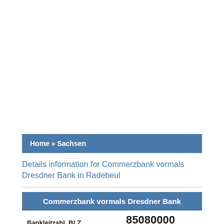Home » Sachsen
Details information for Commerzbank vormals Dresdner Bank in Radebeul
| Commerzbank vormals Dresdner Bank |
| --- |
| Bankleitzahl, BLZ | 85080000 |